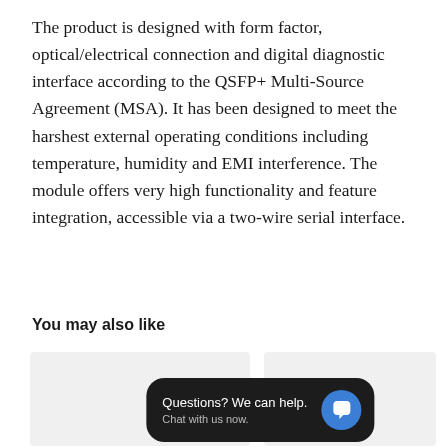The product is designed with form factor, optical/electrical connection and digital diagnostic interface according to the QSFP+ Multi-Source Agreement (MSA). It has been designed to meet the harshest external operating conditions including temperature, humidity and EMI interference. The module offers very high functionality and feature integration, accessible via a two-wire serial interface.
You may also like
[Figure (other): Two product card placeholders shown as grey boxes side by side, with a chat popup overlay reading 'Questions? We can help. Chat with us now.' with a blue chat bubble icon on a dark background.]